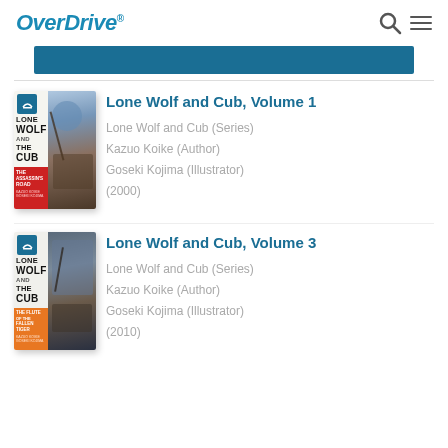OverDrive
[Figure (screenshot): Teal/blue bar banner element]
Lone Wolf and Cub, Volume 1
Lone Wolf and Cub (Series)
Kazuo Koike (Author)
Goseki Kojima (Illustrator)
(2000)
Lone Wolf and Cub, Volume 3
Lone Wolf and Cub (Series)
Kazuo Koike (Author)
Goseki Kojima (Illustrator)
(2010)